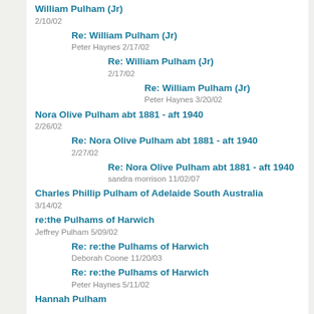William Pulham (Jr)
2/10/02
Re: William Pulham (Jr)
Peter Haynes 2/17/02
Re: William Pulham (Jr)
2/17/02
Re: William Pulham (Jr)
Peter Haynes 3/20/02
Nora Olive Pulham abt 1881 - aft 1940
2/26/02
Re: Nora Olive Pulham abt 1881 - aft 1940
2/27/02
Re: Nora Olive Pulham abt 1881 - aft 1940
sandra morrison 11/02/07
Charles Phillip Pulham of Adelaide South Australia
3/14/02
re:the Pulhams of Harwich
Jeffrey Pulham 5/09/02
Re: re:the Pulhams of Harwich
Deborah Coone 11/20/03
Re: re:the Pulhams of Harwich
Peter Haynes 5/11/02
Hannah Pulham